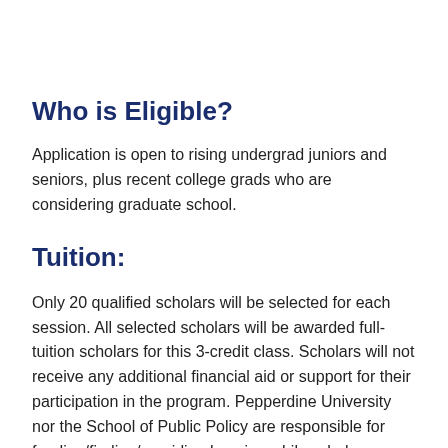Who is Eligible?
Application is open to rising undergrad juniors and seniors, plus recent college grads who are considering graduate school.
Tuition:
Only 20 qualified scholars will be selected for each session. All selected scholars will be awarded full-tuition scholars for this 3-credit class. Scholars will not receive any additional financial aid or support for their participation in the program. Pepperdine University nor the School of Public Policy are responsible for funding/finding/providing housing while scholars attend the program,